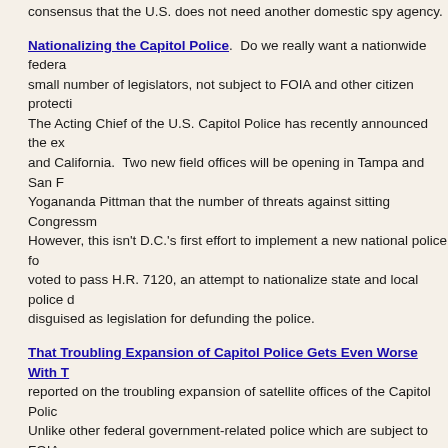consensus that the U.S. does not need another domestic spy agency.
Nationalizing the Capitol Police.  Do we really want a nationwide federal small number of legislators, not subject to FOIA and other citizen protections. The Acting Chief of the U.S. Capitol Police has recently announced the expansion and California.  Two new field offices will be opening in Tampa and San Francisco. Yogananda Pittman that the number of threats against sitting Congressmembers. However, this isn't D.C.'s first effort to implement a new national police force. voted to pass H.R. 7120, an attempt to nationalize state and local police disguised as legislation for defunding the police.
That Troubling Expansion of Capitol Police Gets Even Worse With Technology reported on the troubling expansion of satellite offices of the Capitol Police. Unlike other federal government-related police which are subject to FOIA, Capitol Police are under the control of Congress and not subject to FOIA. controlled by House Speaker Nancy Pelosi spreading out across the country, across the country, starting first with offices in California and Florida, but equipment as they become "an intelligence based protective agency," according. What's the justification for that, all of the sudden?  All of this because of a sound like it's just to deal with present threats against members of Congress problems of using such things to spy on Americans — and all the constitutional
Capitol Police to use Army surveillance system on Americans to 'identify Capitol Police will begin fielding military surveillance equipment as part of the police force pivots towards becoming "an intelligence-based protective agency." Defense Secretary Loyd Austin recently approved the Capitol Police's request for Systems Ground - Medium (PSSG-M) units.  The system provides high-definition enabled with night vision.  The system does not include facial recognition. "This technology will be integrated with existing USCP camera infrastructure surveillance capacity to meet steady-state mission requirements and help said.